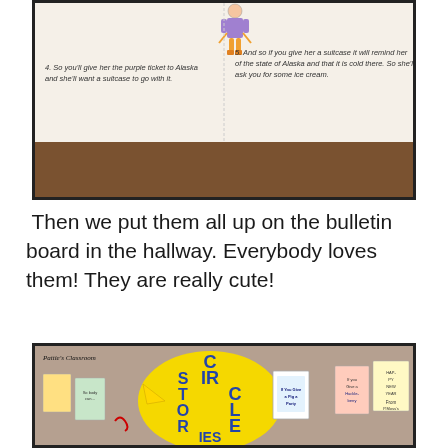[Figure (photo): Photo of a student-made booklet open on a table, showing handwritten text that reads: '4. So you'll give her the purple ticket to Alaska and she'll want a suitcase to go with it.' on the left page and '5. And so if you give her a suitcase it will remind her of the state of Alaska and that it is cold there. So she'll ask you for some ice cream.' on the right page. A drawn figure of a person in colorful clothes is visible at the top.]
Then we put them all up on the bulletin board in the hallway. Everybody loves them! They are really cute!
[Figure (photo): Photo of a classroom bulletin board displaying a large yellow circle with blue letters spelling 'CIRCLE STORIES'. Various student-made book projects and cards are displayed around the circle. A handwritten label 'Pattie's Classroom' is visible in the top left. Book covers are visible including 'If You Give a Pig a Party' and 'If You Give a Huckleberry a Book'.]